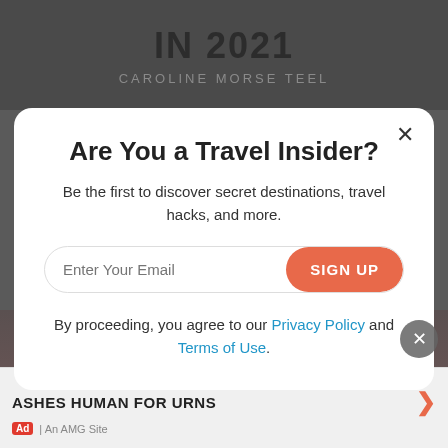IN 2021 CAROLINE MORSE TEEL
Are You a Travel Insider?
Be the first to discover secret destinations, travel hacks, and more.
Enter Your Email   SIGN UP
By proceeding, you agree to our Privacy Policy and Terms of Use.
ADVERTISEMENT
ASHES HUMAN FOR URNS
Ad | An AMG Site